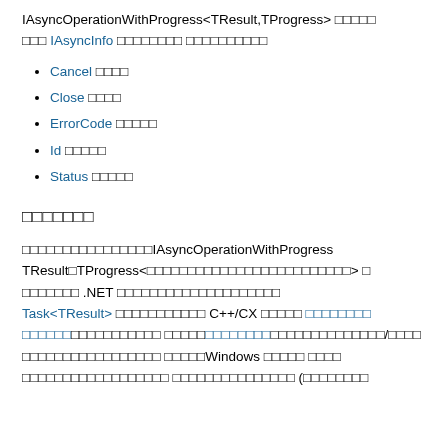IAsyncOperationWithProgress<TResult,TProgress> □□□□□ □□□ IAsyncInfo □□□□□□□□ □□□□□□□□□□
Cancel □□□□
Close □□□□
ErrorCode □□□□□
Id □□□□□
Status □□□□□
□□□□□□□
□□□□□□□□□□□□□□□□IAsyncOperationWithProgress TResult□TProgress<□□□□□□□□□□□□□□□□□□□□□□□□□> □ □□□□□□□ .NET □□□□□□□□□□□□□□□□□□□□ Task<TResult> □□□□□□□□□□□ C++/CX □□□□□ □□□□□□□□ □□□□□□□□□□□□□ □□□□□□□□□□□□□□□□□□□□/□□□□ □□□□□□□□□□□□□□□□□ □□□□□Windows □□□□□ □□□□ □□□□□□□□□□□□□□□□□□ □□□□□□□□□□□□□□□ (□□□□□□□□